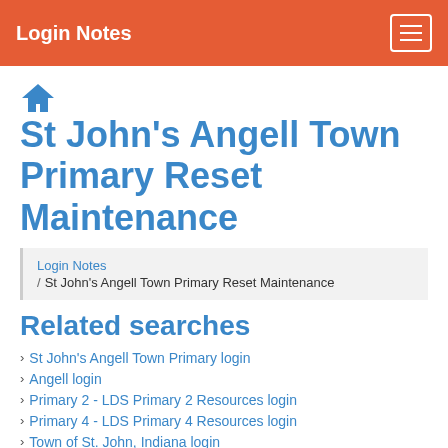Login Notes
St John's Angell Town Primary Reset Maintenance
Login Notes / St John's Angell Town Primary Reset Maintenance
Related searches
St John's Angell Town Primary login
Angell login
Primary 2 - LDS Primary 2 Resources login
Primary 4 - LDS Primary 4 Resources login
Town of St. John, Indiana login